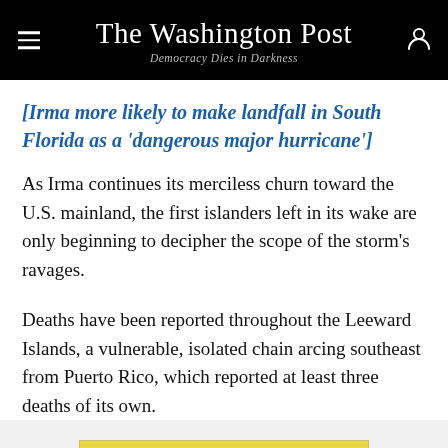The Washington Post
Democracy Dies in Darkness
[Irma more likely to make landfall in South Florida as a 'dangerous major hurricane']
As Irma continues its merciless churn toward the U.S. mainland, the first islanders left in its wake are only beginning to decipher the scope of the storm's ravages.
Deaths have been reported throughout the Leeward Islands, a vulnerable, isolated chain arcing southeast from Puerto Rico, which reported at least three deaths of its own.
[Figure (screenshot): Advertisement banner for 'Eat Voraciously' newsletter with yellow background, sign up button, and tagline 'Get one quick recipe in your inbox every Monday through Thursday.']